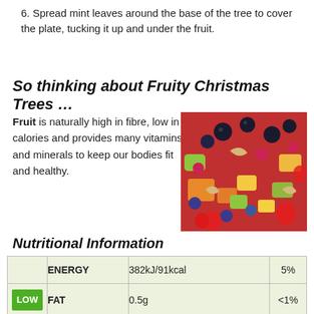6. Spread mint leaves around the base of the tree to cover the plate, tucking it up and under the fruit.
So thinking about Fruity Christmas Trees …
Fruit is naturally high in fibre, low in calories and provides many vitamins and minerals to keep our bodies fit and healthy.
[Figure (photo): Colorful mixed fruit salad with berries, melon, and other fruits]
Nutritional Information
|  | ENERGY | 382kJ/91kcal | 5% |
| --- | --- | --- | --- |
| LOW | FAT | 0.5g | <1% |
| LOW | SATURATES | 0.0g | <1% |
|  |  |  |  |